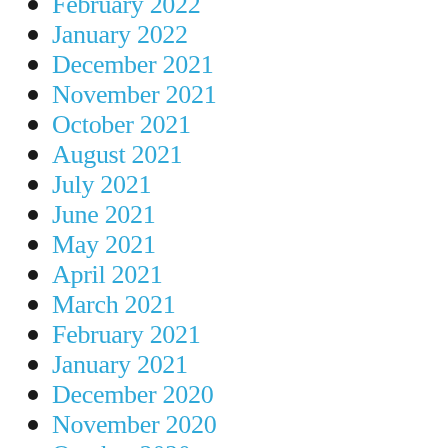February 2022
January 2022
December 2021
November 2021
October 2021
August 2021
July 2021
June 2021
May 2021
April 2021
March 2021
February 2021
January 2021
December 2020
November 2020
October 2020
September 2020